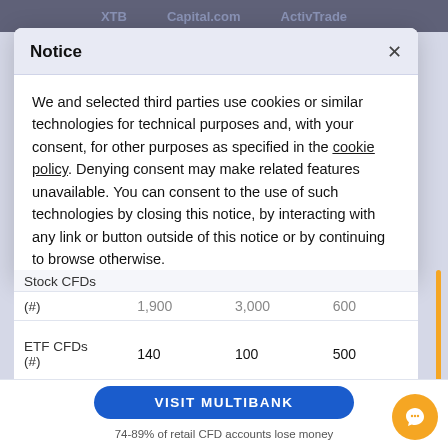Notice
We and selected third parties use cookies or similar technologies for technical purposes and, with your consent, for other purposes as specified in the cookie policy. Denying consent may make related features unavailable. You can consent to the use of such technologies by closing this notice, by interacting with any link or button outside of this notice or by continuing to browse otherwise.
|  | XTB | Capital.com | ActivTrades |
| --- | --- | --- | --- |
| Stock CFDs (#) | 1,900 | 3,000 | 600 |
| ETF CFDs (#) | 140 | 100 | 500 |
| Commodity... |  |  |  |
VISIT MULTIBANK
74-89% of retail CFD accounts lose money